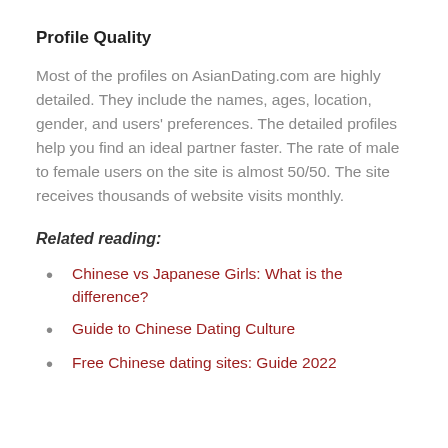Profile Quality
Most of the profiles on AsianDating.com are highly detailed. They include the names, ages, location, gender, and users' preferences. The detailed profiles help you find an ideal partner faster. The rate of male to female users on the site is almost 50/50. The site receives thousands of website visits monthly.
Related reading:
Chinese vs Japanese Girls: What is the difference?
Guide to Chinese Dating Culture
Free Chinese dating sites: Guide 2022